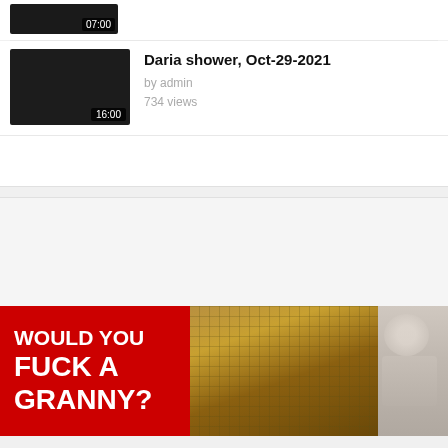[Figure (screenshot): Partial video thumbnail (dark/black) with duration badge '07:00' at bottom-right]
[Figure (screenshot): Video thumbnail (dark/black) for 'Daria shower, Oct-29-2021' with duration badge '16:00']
Daria shower, Oct-29-2021
by admin
734 views
[Figure (photo): Advertising banner with red block text 'WOULD YOU FUCK A GRANNY?' and sauna/floral photo background]